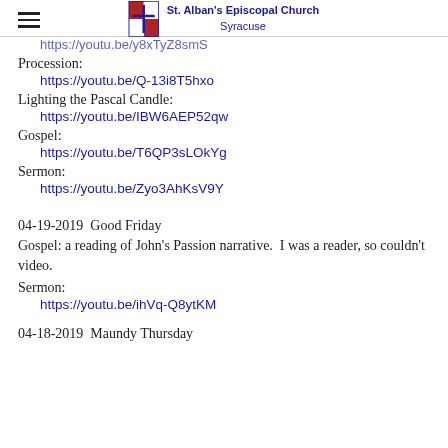St. Alban's Episcopal Church Syracuse
https://youtu.be/y8xTyZ8smS
Procession:
  https://youtu.be/Q-13i8T5hxo
Lighting the Pascal Candle:
  https://youtu.be/IBW6AEP52qw
Gospel:
  https://youtu.be/T6QP3sLOkYg
Sermon:
  https://youtu.be/Zyo3AhKsV9Y
04-19-2019  Good Friday
Gospel: a reading of John's Passion narrative.  I was a reader, so couldn't video.
Sermon:
  https://youtu.be/ihVq-Q8ytKM
04-18-2019  Maundy Thursday